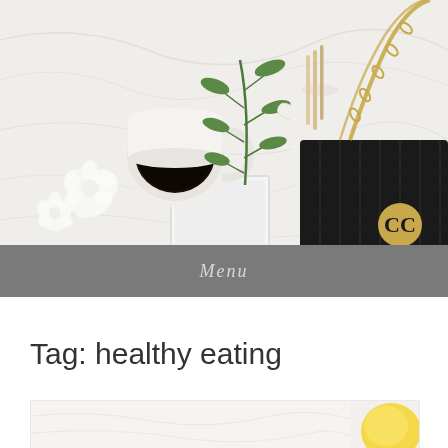[Figure (photo): Flat lay photo with a white cup of black coffee, white flowers, a green leafy branch, a white creamer/vase, a small framed object, and a black Chanel quilted chain bag with gold CC logo, all on a white crumpled fabric background.]
Menu
Tag: healthy eating
[Figure (photo): Partial thumbnail image, mostly white with a hint of yellow object, likely a food photo.]